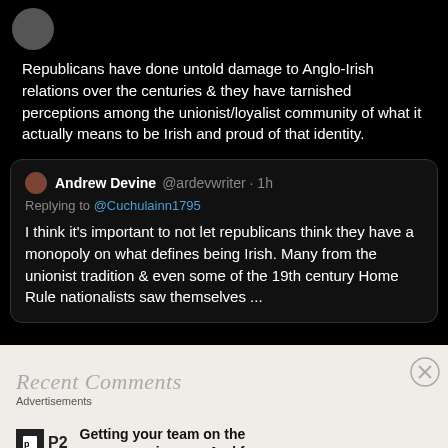[Figure (screenshot): Screenshot of a Twitter/social media thread. Top portion shows a tweet text: 'Republicans have done untold damage to Anglo-Irish relations over the centuries & they have tarnished perceptions among the unionist/loyalist community of what it actually means to be Irish and proud of that identity.' Below is a quoted reply from Andrew Devine @ardevwriter · 1h, Replying to @Cuchulainn1795: 'I think it's important to not let republicans think they have a monopoly on what defines being Irish. Many from the unionist tradition & even some of the 19th century Home Rule nationalists saw themselves ...']
Recent Comments
Advertisements
[Figure (logo): P2 logo — black square with white P2 icon, followed by bold text 'P2']
Getting your team on the same page is easy. And free.